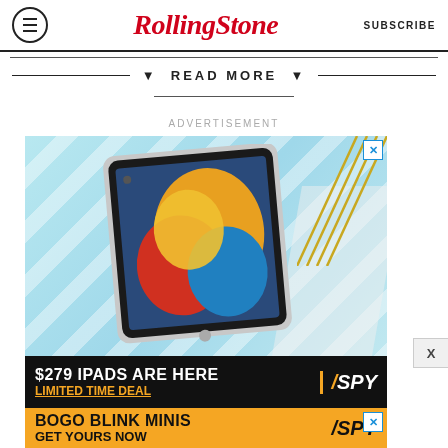Rolling Stone | SUBSCRIBE
▼ READ MORE ▼
ADVERTISEMENT
[Figure (illustration): Advertisement showing an Apple iPad with colorful wallpaper on a light blue diagonal-striped background. Bottom black bar reads '$279 IPADS ARE HERE' and 'LIMITED TIME DEAL' in yellow, with SPY logo. A second yellow ad bar below reads 'BOGO BLINK MINIS / GET YOURS NOW' with SPY logo.]